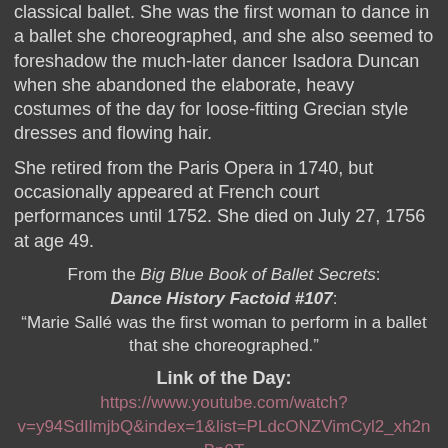classical ballet. She was the first woman to dance in a ballet she choreographed, and she also seemed to foreshadow the much-later dancer Isadora Duncan when she abandoned the elaborate, heavy costumes of the day for loose-fitting Grecian style dresses and flowing hair.
She retired from the Paris Opera in 1740, but occasionally appeared at French court performances until 1752. She died on July 27, 1756 at age 49.
From the Big Blue Book of Ballet Secrets: Dance History Factoid #107: “Marie Sallé was the first woman to perform in a ballet that she choreographed.”
Link of the Day:
https://www.youtube.com/watch?v=y94SdIlmjbQ&index=1&list=PLdcONZVimCyl2_xh2nBp0TnIlKH3DQNI2
Quote of the Day:
“A kind gesture can reach a wound that only compassion can heal.”